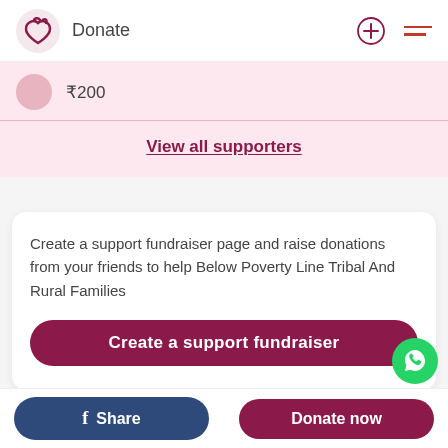Donate
₹200
View all supporters
Create a support fundraiser page and raise donations from your friends to help Below Poverty Line Tribal And Rural Families
Create a support fundraiser
If something isn't right, we will work with you to ensu
Share
Donate now